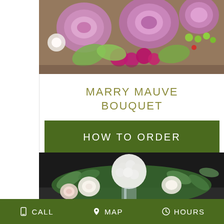[Figure (photo): Close-up photo of a bridal bouquet with mauve/purple roses, magenta stock flowers, and green cymbidium orchid leaves on a wooden surface]
MARRY MAUVE BOUQUET
HOW TO ORDER
[Figure (photo): Floral arrangement with white hydrangea, cream and blush roses, and green eucalyptus leaves in a glass vase on a dark background]
CALL   MAP   HOURS